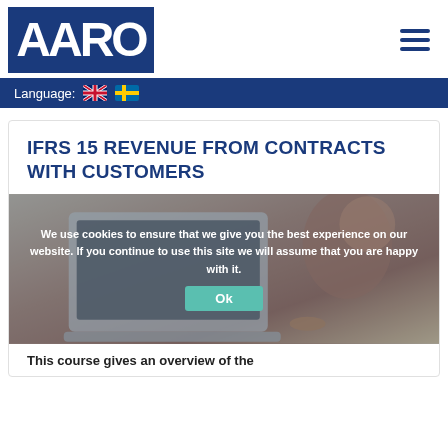[Figure (logo): AARO logo — white letters on dark blue rectangle background]
Language: 🇬🇧 🇸🇪
IFRS 15 REVENUE FROM CONTRACTS WITH CUSTOMERS
[Figure (photo): Woman in a brown/rust sweater working on a laptop computer]
We use cookies to ensure that we give you the best experience on our website. If you continue to use this site we will assume that you are happy with it.
Ok
This course gives an overview of the